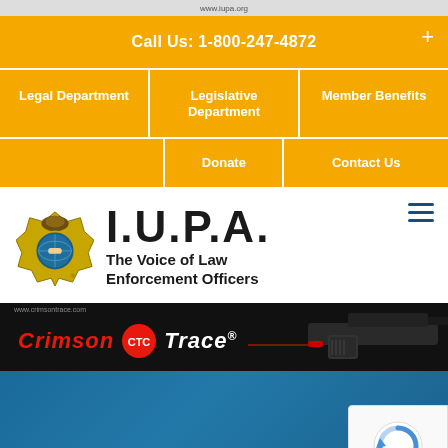Call Us: 1-800-247-4872
Legal Department
Legislative Department
Member Benefits
Donate
Contact Us
[Figure (logo): I.U.P.A. - The Voice of Law Enforcement Officers logo with badge]
[Figure (screenshot): Crimson Trace advertisement banner showing logo and pistol with laser sight]